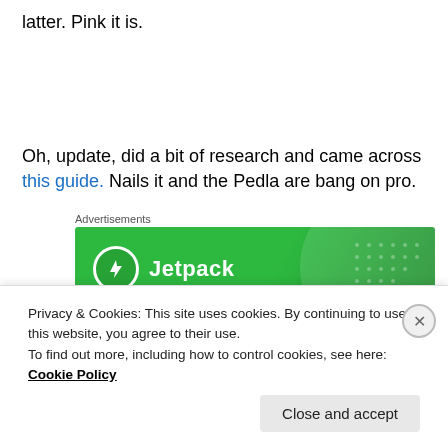latter. Pink it is.
Oh, update, did a bit of research and came across this guide. Nails it and the Pedla are bang on pro.
Advertisements
[Figure (logo): Jetpack advertisement banner with green background and Jetpack logo]
Privacy & Cookies: This site uses cookies. By continuing to use this website, you agree to their use.
To find out more, including how to control cookies, see here: Cookie Policy